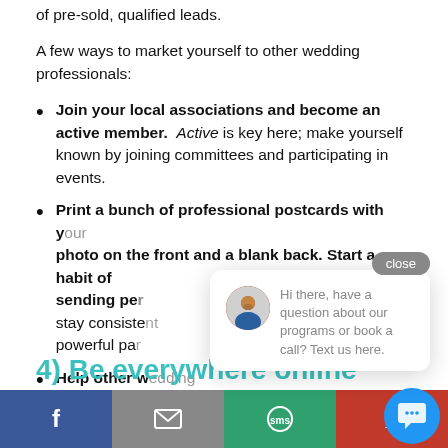of pre-sold, qualified leads.
A few ways to market yourself to other wedding professionals:
Join your local associations and become an active member. Active is key here; make yourself known by joining committees and participating in events.
Print a bunch of professional postcards with your photo on the front and a blank back. Start a habit of sending per[sons]... stay consiste[nt]... powerful par[tners]...
Help other w[edding professionals use your] talents to bu[ild their businesses]...
4) Be everywhere online
[Figure (screenshot): Chat popup overlay with close button, avatar of a man, and text: Hi there, have a question about our programs or book a call? Text us here.]
[Figure (infographic): Social sharing bar at bottom with Facebook, email, SMS, Pinterest buttons and a blue chat FAB button]